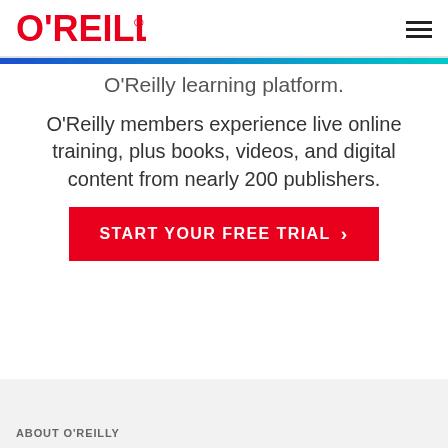O'REILLY
O'Reilly learning platform.
O'Reilly members experience live online training, plus books, videos, and digital content from nearly 200 publishers.
START YOUR FREE TRIAL >
ABOUT O'REILLY